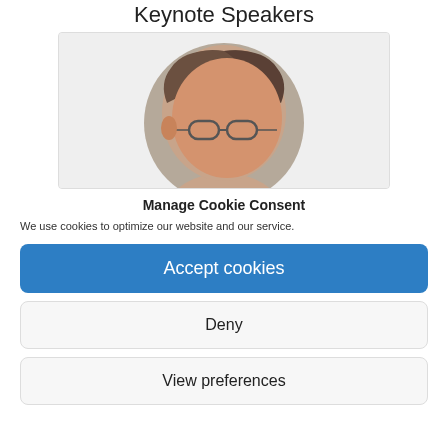Keynote Speakers
[Figure (photo): Circular headshot of a person with short hair and glasses, set against a gray circular background, inside a light gray rectangle]
Manage Cookie Consent
We use cookies to optimize our website and our service.
Accept cookies
Deny
View preferences